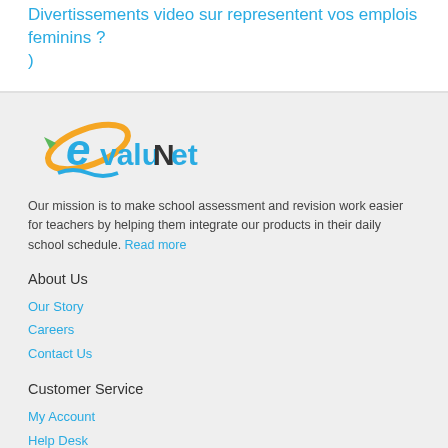Divertissements video sur representent vos emplois feminins ? )
[Figure (logo): EvaluNet logo with stylized 'e' in blue and yellow, arrow in green, and wave underline]
Our mission is to make school assessment and revision work easier for teachers by helping them integrate our products in their daily school schedule. Read more
About Us
Our Story
Careers
Contact Us
Customer Service
My Account
Help Desk